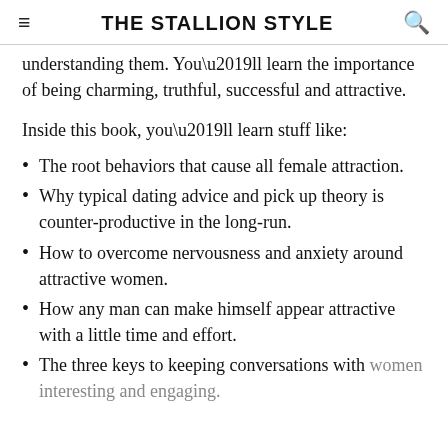THE STALLION STYLE
understanding them. You’ll learn the importance of being charming, truthful, successful and attractive.
Inside this book, you’ll learn stuff like:
The root behaviors that cause all female attraction.
Why typical dating advice and pick up theory is counter-productive in the long-run.
How to overcome nervousness and anxiety around attractive women.
How any man can make himself appear attractive with a little time and effort.
The three keys to keeping conversations with women interesting and engaging.